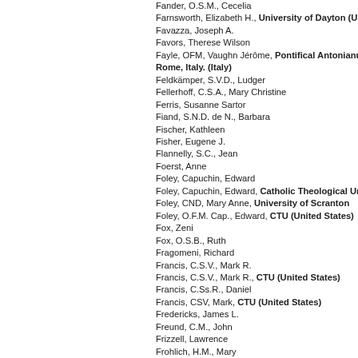Fander, O.S.M., Cecelia
Farnsworth, Elizabeth H., University of Dayton (Unite
Favazza, Joseph A.
Favors, Therese Wilson
Fayle, OFM, Vaughn Jérôme, Pontifical Antonianum, Rome, Italy. (Italy)
Feldkämper, S.V.D., Ludger
Fellerhoff, C.S.A., Mary Christine
Ferris, Susanne Sartor
Fiand, S.N.D. de N., Barbara
Fischer, Kathleen
Fisher, Eugene J.
Flannelly, S.C., Jean
Foerst, Anne
Foley, Capuchin, Edward
Foley, Capuchin, Edward, Catholic Theological Union
Foley, CND, Mary Anne, University of Scranton
Foley, O.F.M. Cap., Edward, CTU (United States)
Fox, Zeni
Fox, O.S.B., Ruth
Fragomeni, Richard
Francis, C.S.V., Mark R.
Francis, C.S.V., Mark R., CTU (United States)
Francis, C.Ss.R., Daniel
Francis, CSV, Mark, CTU (United States)
Fredericks, James L.
Freund, C.M., John
Frizzell, Lawrence
Frohlich, H.M., Mary
Frohlich, R.S.C.J., Mary
Frohlich, RSCJ, Mary, Catholic Theological Union
Fullam, Lisa
G
Gaillardetz, Richard R.
Gallagher, C.Ss.R., Raphael
Gallagher, C.Ss.R., Michael